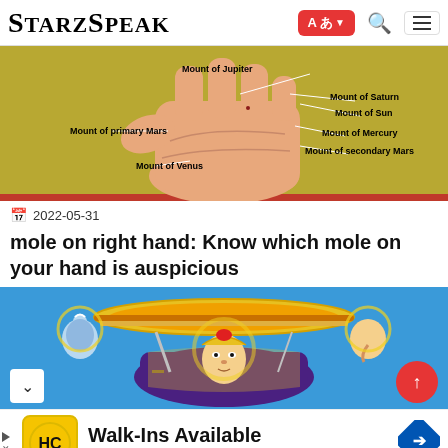StarzSpeak
[Figure (photo): Diagram of a human palm (right hand, palm up) with labels pointing to mounts: Mount of Jupiter, Mount of Saturn, Mount of Sun, Mount of primary Mars, Mount of Mercury, Mount of secondary Mars, Mount of Venus. Background is yellowish-green.]
2022-05-31
mole on right hand: Know which mole on your hand is auspicious
[Figure (illustration): Colorful Hindu religious illustration showing a deity (Murugan/Kartikeya) with ornate crown/umbrella, flanked by Shiva and Ganesha figures on a blue background.]
Walk-Ins Available
Hair Cuttery